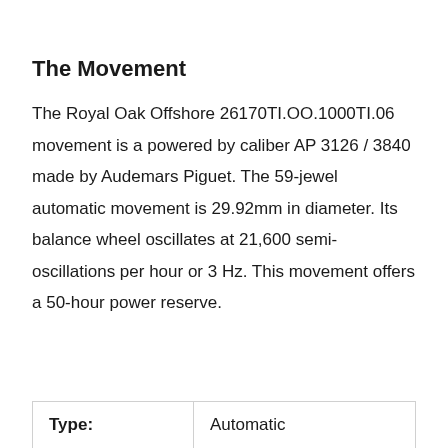The Movement
The Royal Oak Offshore 26170TI.OO.1000TI.06 movement is a powered by caliber AP 3126 / 3840 made by Audemars Piguet. The 59-jewel automatic movement is 29.92mm in diameter. Its balance wheel oscillates at 21,600 semi-oscillations per hour or 3 Hz. This movement offers a 50-hour power reserve.
| Type: | Automatic |
| --- | --- |